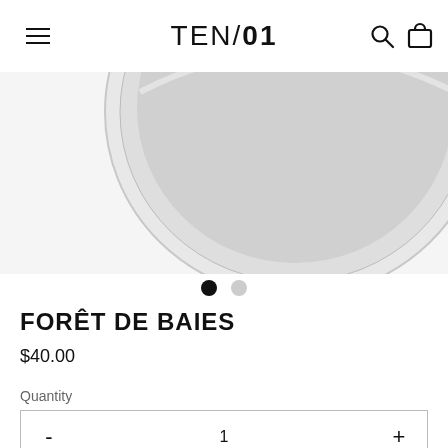TEN/01
[Figure (photo): Product photo showing bottom portion of a round tin/candle container with silver lid on white background]
FORÊT DE BAIES
$40.00
Quantity
1